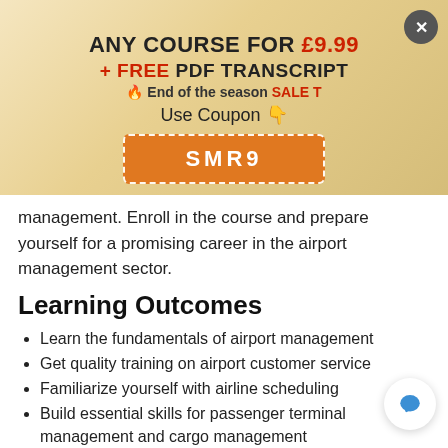[Figure (infographic): Promotional banner with golden gradient background showing: ANY COURSE FOR £9.99, + FREE PDF TRANSCRIPT, 🔥 End of the season SALE T, Use Coupon 👇, and a coupon code button SMR9. A close (X) button is in the top right corner.]
management. Enroll in the course and prepare yourself for a promising career in the airport management sector.
Learning Outcomes
Learn the fundamentals of airport management
Get quality training on airport customer service
Familiarize yourself with airline scheduling
Build essential skills for passenger terminal management and cargo management
Enrich your knowledge of aviation noise control
Become competent in airport security management